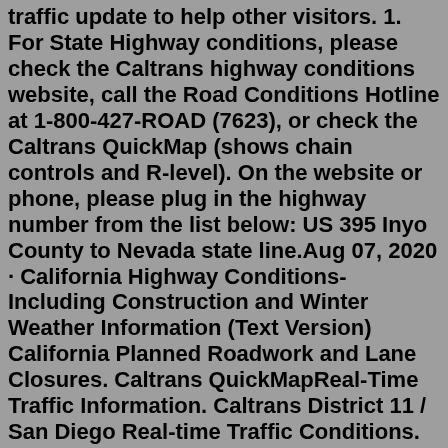traffic update to help other visitors. 1. For State Highway conditions, please check the Caltrans highway conditions website, call the Road Conditions Hotline at 1-800-427-ROAD (7623), or check the Caltrans QuickMap (shows chain controls and R-level). On the website or phone, please plug in the highway number from the list below: US 395 Inyo County to Nevada state line.Aug 07, 2020 · California Highway Conditions- Including Construction and Winter Weather Information (Text Version) California Planned Roadwork and Lane Closures. Caltrans QuickMapReal-Time Traffic Information. Caltrans District 11 / San Diego Real-time Traffic Conditions. Caltrans Live Traffic Cameras. HighwayConditions.com provides easy access to California: Road conditions, highway ... May 19, 2020 · Driving California's Scenic Highway One. California's Highway One is a state highway. It runs from Capistrano Beach in Orange County to Leggett in northern Mendocino (Dana Point), a total of about 650 miles. You can tackle it in sections, pick just part